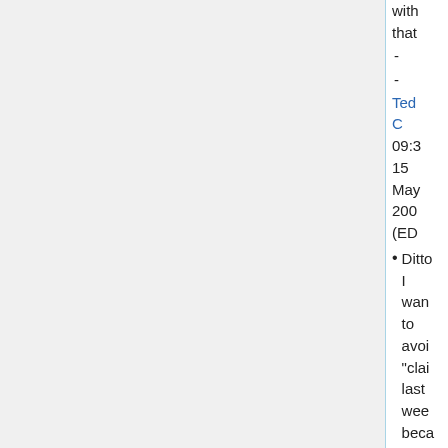with that - - Ted C 09:3 15 May 2007 (ED
Ditto I want to avoid "clai last wee beca